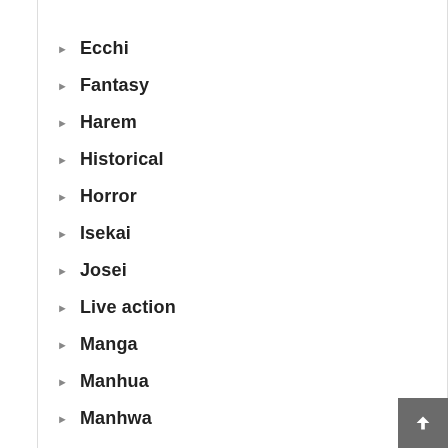Ecchi
Fantasy
Harem
Historical
Horror
Isekai
Josei
Live action
Manga
Manhua
Manhwa
Martial Arts
Mature